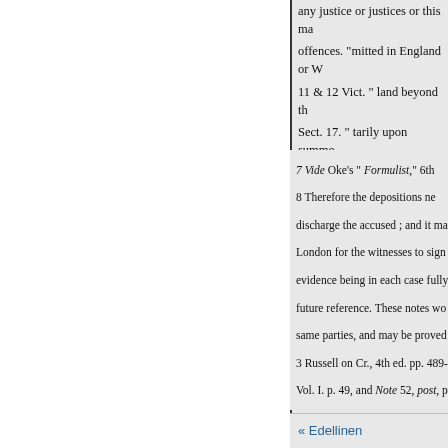offences. "mitted in England or W
11 & 12 Vict. " land beyond th
Sect. 17. " tarily upon summo for the same or any other "offenc person to prison for trial,-or befo accused person,-who shall be at statement "(M), on oath or affirm and shall put the same into
7 Vide Oke's " Formulist," 6th
8 Therefore the depositions ne discharge the accused ; and it ma London for the witnesses to sign evidence being in each case fully future reference. These notes wo same parties, and may be proved 3 Russell on Cr., 4th ed. pp. 489- Vol. I. p. 49, and Note 52, post, p
« Edellinen